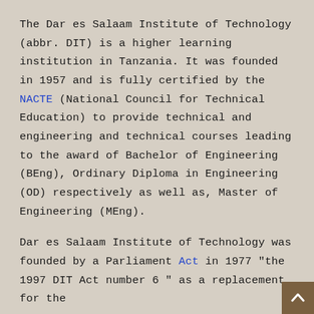The Dar es Salaam Institute of Technology (abbr. DIT) is a higher learning institution in Tanzania. It was founded in 1957 and is fully certified by the NACTE (National Council for Technical Education) to provide technical and engineering and technical courses leading to the award of Bachelor of Engineering (BEng), Ordinary Diploma in Engineering (OD) respectively as well as, Master of Engineering (MEng).
Dar es Salaam Institute of Technology was founded by a Parliament Act in 1977 "the 1997 DIT Act number 6" as a replacement for the...